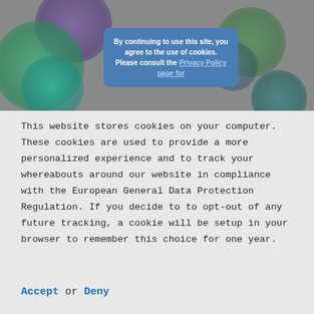[Figure (screenshot): A dark gray background image with colorful blurry circles (purple, green, teal) and a blue tooltip/dialog box overlaid in the center showing a cookie consent message. The tooltip reads: 'By continuing to use this site, you agree to the use of cookies. Please consult the Privacy Policy page for more information.']
This website stores cookies on your computer. These cookies are used to provide a more personalized experience and to track your whereabouts around our website in compliance with the European General Data Protection Regulation. If you decide to to opt-out of any future tracking, a cookie will be setup in your browser to remember this choice for one year.
Accept or Deny